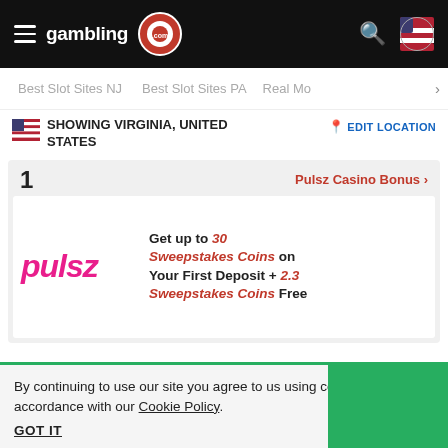gambling.com
Best Slot Sites NJ  Best Slot Sites PA  Real Mo... >
SHOWING VIRGINIA, UNITED STATES
EDIT LOCATION
1  Pulsz Casino Bonus >
[Figure (logo): Pulsz logo in magenta/pink italic bold text]
Get up to 30 Sweepstakes Coins on Your First Deposit + 2.3 Sweepstakes Coins Free
By continuing to use our site you agree to us using cookies in accordance with our Cookie Policy.
GOT IT